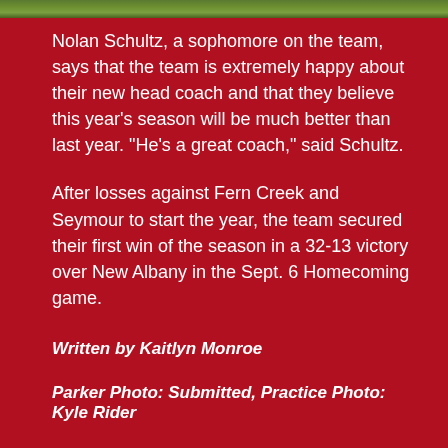[Figure (photo): Green grass/field photo strip at top of page]
Nolan Schultz, a sophomore on the team, says that the team is extremely happy about their new head coach and that they believe this year's season will be much better than last year. “He’s a great coach,” said Schultz.
After losses against Fern Creek and Seymour to start the year, the team secured their first win of the season in a 32-13 victory over New Albany in the Sept. 6 Homecoming game.
Written by Kaitlyn Monroe
Parker Photo: Submitted, Practice Photo: Kyle Rider